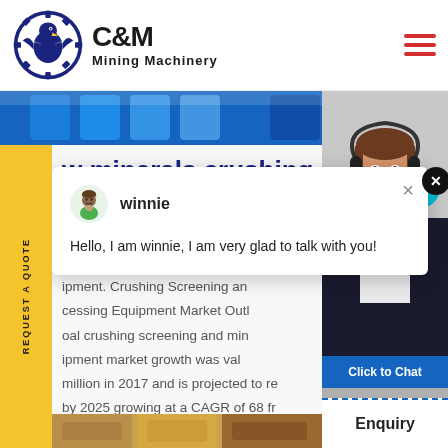[Figure (logo): C&M Mining Machinery logo with eagle/gear emblem in dark blue, company name in bold black text]
[Figure (photo): Blue industrial machinery/barrels hero image strip]
[Figure (screenshot): Chat popup from 'winnie' saying 'Hello, I am winnie, I am very glad to talk with you!']
w minerals crushing and
ipment. Crushing Screening an cessing Equipment Market Outl oal crushing screening and min ipment market growth was val million in 2017 and is projected to re by 2025 growing at a CAGR of 68 fr
[Figure (photo): Female customer service agent wearing headset, smiling, with cyan notification badge showing '1' and 'Click to Chat' button]
Enquiry
[Figure (photo): Bottom thumbnail image strip in warm brown/gold tones]